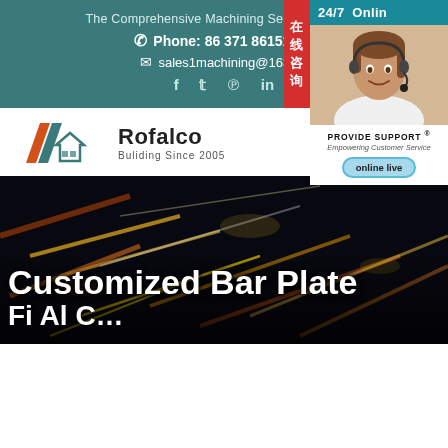The Comprehensive Machining Service Platform
Phone: 86 371 86151827
sales1machining@163.co
f  t  p  in
[Figure (photo): Customer service representative with headset, 24/7 Online chat widget with 'PROVIDE SUPPORT Empowering Customer Service' and 'online live' button, and Chinese 在线咨询 badge]
[Figure (logo): Rofalco logo with stylized house/roof icon in orange and teal, text 'Rofalco' and 'Buliding Since 2005']
[Figure (photo): Dark background with colorful blurred light streaks (bokeh effect)]
Customized Bar Plate